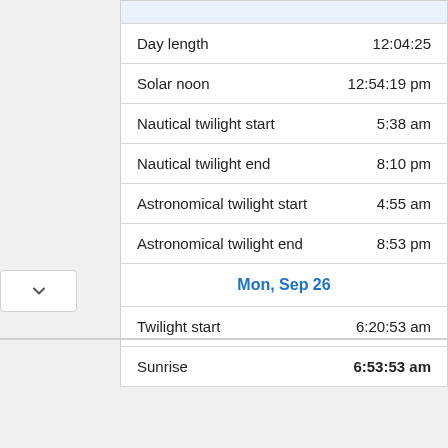|  |  |
| --- | --- |
| Day length | 12:04:25 |
| Solar noon | 12:54:19 pm |
| Nautical twilight start | 5:38 am |
| Nautical twilight end | 8:10 pm |
| Astronomical twilight start | 4:55 am |
| Astronomical twilight end | 8:53 pm |
| Mon, Sep 26 |  |
| Twilight start | 6:20:53 am |
| Sunrise | 6:53:53 am |